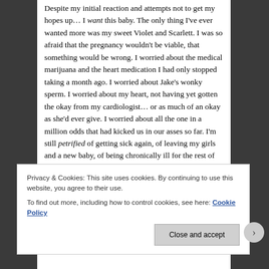Despite my initial reaction and attempts not to get my hopes up… I want this baby. The only thing I've ever wanted more was my sweet Violet and Scarlett. I was so afraid that the pregnancy wouldn't be viable, that something would be wrong. I worried about the medical marijuana and the heart medication I had only stopped taking a month ago. I worried about Jake's wonky sperm. I worried about my heart, not having yet gotten the okay from my cardiologist… or as much of an okay as she'd ever give. I worried about all the one in a million odds that had kicked us in our asses so far. I'm still petrified of getting sick again, of leaving my girls and a new baby, of being chronically ill for the rest of my life, despite getting the all clear from the cardiologist just a few days after I got my positive test and the reclassification from
Privacy & Cookies: This site uses cookies. By continuing to use this website, you agree to their use.
To find out more, including how to control cookies, see here: Cookie Policy